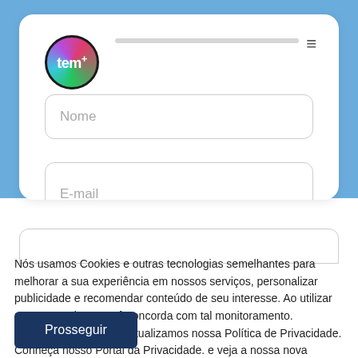[Figure (screenshot): Website form screenshot with tem+ logo, Nome input field, E-mail input field, and partial third input field on a blue background]
Nós usamos Cookies e outras tecnologias semelhantes para melhorar a sua experiência em nossos serviços, personalizar publicidade e recomendar conteúdo de seu interesse. Ao utilizar nossos serviços, você concorda com tal monitoramento. Informamos ainda que atualizamos nossa Política de Privacidade. Conheça nosso Portal da Privacidade. e veja a nossa nova Política.
Prosseguir